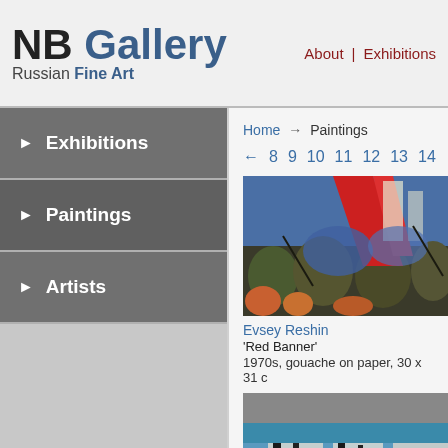NB Gallery Russian Fine Art | About | Exhibitions
► Exhibitions
► Paintings
► Artists
Home → Paintings
← 8 9 10 11 12 13 14
[Figure (photo): Painting showing figures with a red banner, dynamic brushwork in blues, reds, and greens. 'Red Banner' by Evsey Reshin.]
Evsey Reshin
'Red Banner'
1970s, gouache on paper, 30 x 31 c
[Figure (photo): Second painting showing abstract scene with blues, whites, reds and blacks.]